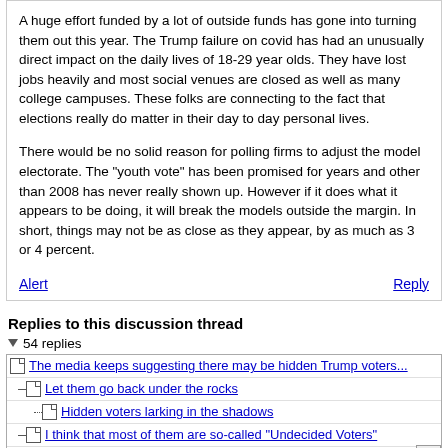A huge effort funded by a lot of outside funds has gone into turning them out this year. The Trump failure on covid has had an unusually direct impact on the daily lives of 18-29 year olds. They have lost jobs heavily and most social venues are closed as well as many college campuses. These folks are connecting to the fact that elections really do matter in their day to day personal lives.

There would be no solid reason for polling firms to adjust the model electorate. The "youth vote" has been promised for years and other than 2008 has never really shown up. However if it does what it appears to be doing, it will break the models outside the margin. In short, things may not be as close as they appear, by as much as 3 or 4 percent.
Replies to this discussion thread
54 replies
The media keeps suggesting there may be hidden Trump voters...
Let them go back under the rocks
Hidden voters larking in the shadows
I think that most of them are so-called "Undecided Voters"
I agree. Most "hidden Trump voters" out rhere previously